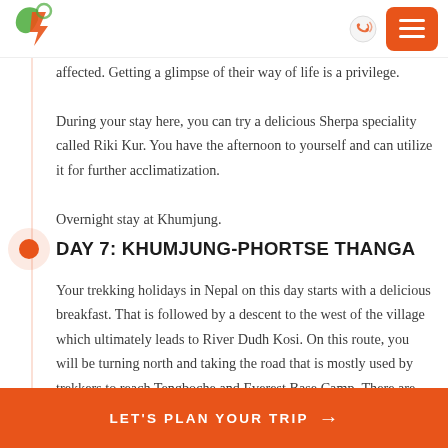Travel website header with logo and menu button
affected. Getting a glimpse of their way of life is a privilege. During your stay here, you can try a delicious Sherpa speciality called Riki Kur. You have the afternoon to yourself and can utilize it for further acclimatization.

Overnight stay at Khumjung.
DAY 7: KHUMJUNG-PHORTSE THANGA
Your trekking holidays in Nepal on this day starts with a delicious breakfast. That is followed by a descent to the west of the village which ultimately leads to River Dudh Kosi. On this route, you will be turning north and taking the road that is mostly used by trekkers to reach Tengboche and Everest Base Camp. There are two routes marking the first leg of the trek. The first one is the yak trails which rise graciously and aren't so steep, while the other trail, built of rocks which have been placed in an
LET'S PLAN YOUR TRIP →